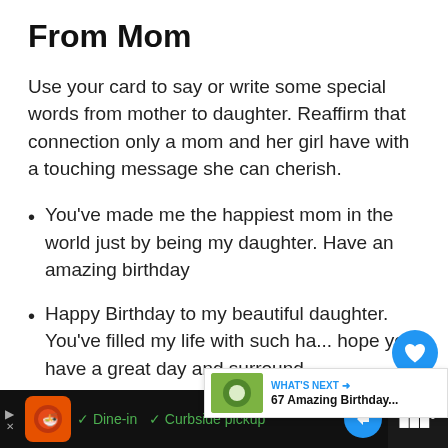From Mom
Use your card to say or write some special words from mother to daughter. Reaffirm that connection only a mom and her girl have with a touching message she can cherish.
You’ve made me the happiest mom in the world just by being my daughter. Have an amazing birthday
Happy Birthday to my beautiful daughter. You’ve filled my life with such ha... hope you have a great day and surround
✓ Dine-in  ✓ Curbside pickup